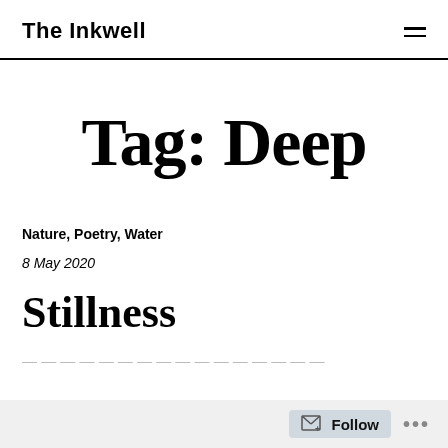The Inkwell
Tag: Deep
Nature, Poetry, Water
8 May 2020
Stillness
Follow